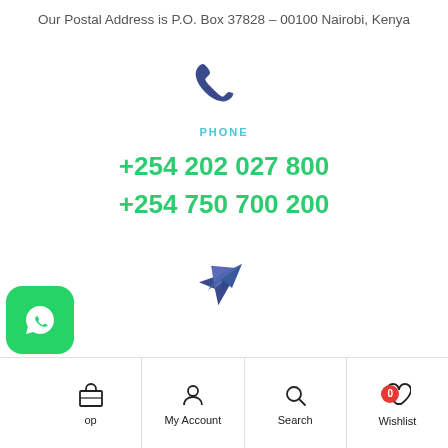Our Postal Address is P.O. Box 37828 – 00100 Nairobi, Kenya
[Figure (illustration): Blue phone/call icon]
PHONE
+254 202 027 800
+254 750 700 200
[Figure (illustration): Blue paper plane / send icon]
Shop  My Account  Search  Wishlist